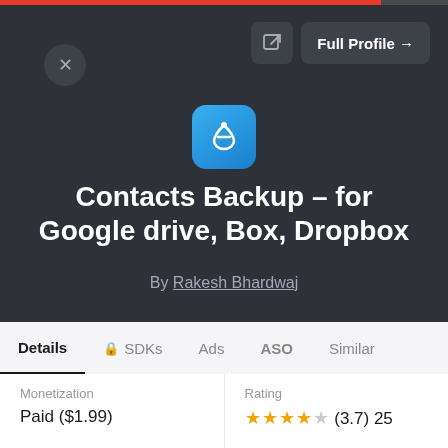[Figure (screenshot): App store profile card showing Contacts Backup app for Google drive, Box, Dropbox by Rakesh Bhardwaj with navigation tabs and details]
Contacts Backup - for Google drive, Box, Dropbox
By Rakesh Bhardwaj
Details | SDKs | Ads | ASO | Similar
Monetization
Paid ($1.99)
Rating
★★★★☆ (3.7) 25